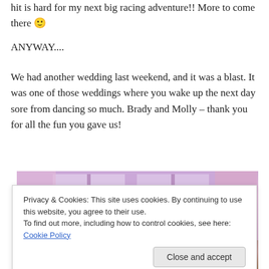hit is hard for my next big racing adventure!! More to come there 🙂
ANYWAY....
We had another wedding last weekend, and it was a blast. It was one of those weddings where you wake up the next day sore from dancing so much. Brady and Molly – thank you for all the fun you gave us!
[Figure (photo): A blurry/soft-focus indoor photo showing a pinkish-purple lit room, possibly a wedding venue. The lower portion shows a person with dark hair.]
Privacy & Cookies: This site uses cookies. By continuing to use this website, you agree to their use.
To find out more, including how to control cookies, see here: Cookie Policy
Close and accept